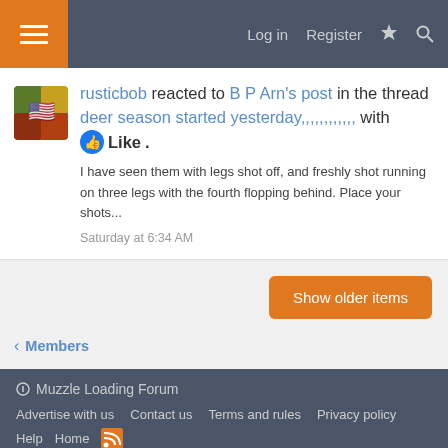Log in | Register | [lightning] | [search]
rusticbob reacted to B P Arn's post in the thread deer season started yesterday,,,,,,,,,,,, with Like.
I have seen them with legs shot off, and freshly shot running on three legs with the fourth flopping behind. Place your shots...
Saturday at 6:34 AM
Show older items
< Members
Muzzle Loading Forum
Advertise with us  Contact us  Terms and rules  Privacy policy
Help  Home  [RSS]
Community platform by XenForo® © 2010-2022 XenForo Ltd.